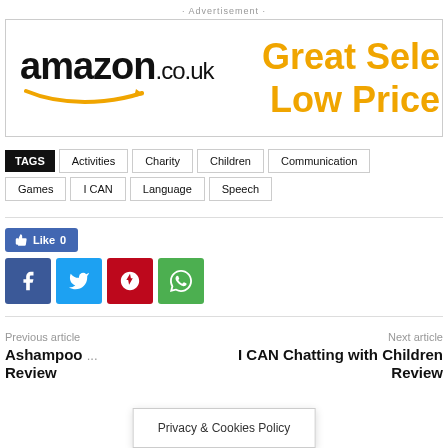· Advertisement ·
[Figure (other): Amazon.co.uk advertisement banner with logo on left and 'Great Selection Low Prices' text in orange on right]
TAGS  Activities  Charity  Children  Communication  Games  I CAN  Language  Speech
[Figure (infographic): Social sharing buttons: Facebook Like (0), Facebook share, Twitter share, Pinterest share, WhatsApp share]
Previous article
Next article
Ashampoo ... Review
I CAN Chatting with Children Review
Privacy & Cookies Policy